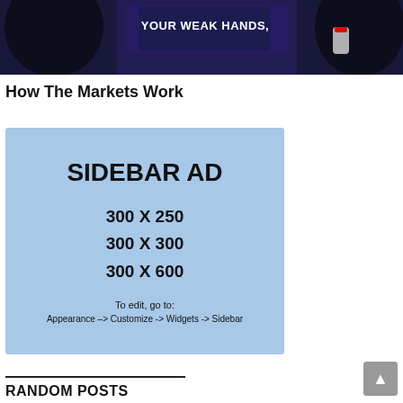[Figure (screenshot): A dark video thumbnail showing a TV studio scene with text 'YOUR WEAK HANDS,' overlaid in white capital letters, with a can visible on the right side.]
How The Markets Work
[Figure (infographic): Sidebar ad placeholder with light blue background showing 'SIDEBAR AD' in large bold text, size options '300 X 250', '300 X 300', '300 X 600', and instructions 'To edit, go to: Appearance -> Customize -> Widgets -> Sidebar']
RANDOM POSTS